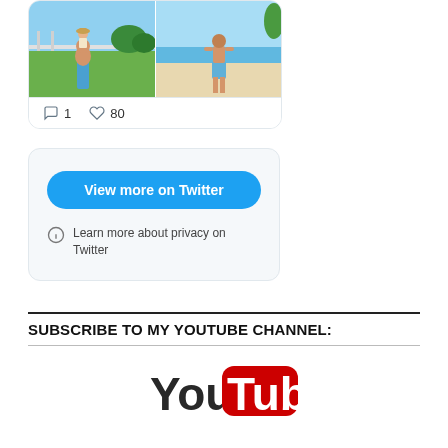[Figure (screenshot): Twitter/social media embed card showing two beach/outdoor photos side by side: left photo shows a man holding a child on his shoulders near a railing with green fields, right photo shows a man standing on a beach. Below the photos are comment icon with count 1 and heart icon with count 80.]
[Figure (screenshot): Twitter embed widget showing a blue 'View more on Twitter' button and privacy information text: 'Learn more about privacy on Twitter']
SUBSCRIBE TO MY YOUTUBE CHANNEL:
[Figure (logo): YouTube logo showing 'You' in black text and 'Tube' in white text on a red rounded rectangle background]